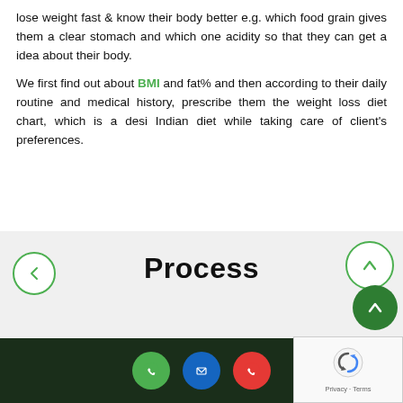lose weight fast & know their body better e.g. which food grain gives them a clear stomach and which one acidity so that they can get a idea about their body.
We first find out about BMI and fat% and then according to their daily routine and medical history, prescribe them the weight loss diet chart, which is a desi Indian diet while taking care of client's preferences.
Process
[Figure (other): Navigation UI elements: left arrow circle button (green outline), right up-arrow circle button (green outline), and a filled dark green circle with up arrow (scroll-to-top button)]
[Figure (other): Website footer with dark green background containing three circular icon buttons: WhatsApp (green), Email (blue), Phone (red/orange). Also a reCAPTCHA widget in bottom-right corner with Privacy and Terms links.]